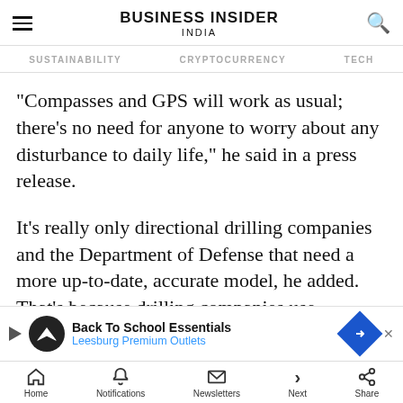BUSINESS INSIDER INDIA
SUSTAINABILITY   CRYPTOCURRENCY   TECH
"Compasses and GPS will work as usual; there's no need for anyone to worry about any disturbance to daily life," he said in a press release.
It's really only directional drilling companies and the Department of Defense that need a more up-to-date, accurate model, he added. That's because drilling companies use compasses and the m[...] OD,
[Figure (other): Advertisement banner: Back To School Essentials - Leesburg Premium Outlets]
Home   Notifications   Newsletters   Next   Share